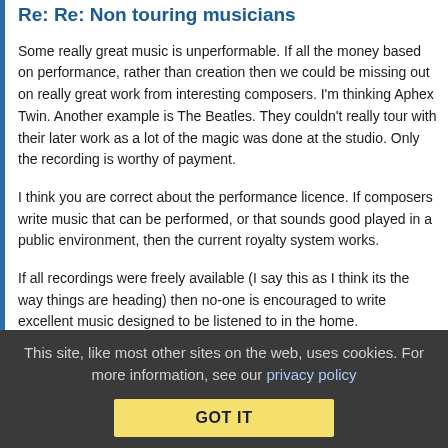Re: Re: Non touring musicians
Some really great music is unperformable. If all the money based on performance, rather than creation then we could be missing out on really great work from interesting composers. I'm thinking Aphex Twin. Another example is The Beatles. They couldn't really tour with their later work as a lot of the magic was done at the studio. Only the recording is worthy of payment.
I think you are correct about the performance licence. If composers write music that can be performed, or that sounds good played in a public environment, then the current royalty system works.
If all recordings were freely available (I say this as I think its the way things are heading) then no-one is encouraged to write excellent music designed to be listened to in the home.
This site, like most other sites on the web, uses cookies. For more information, see our privacy policy
GOT IT